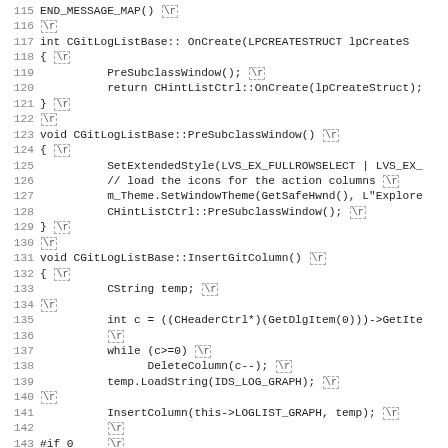[Figure (screenshot): Source code listing in C++ showing lines 115-146 of CGitLogListBase implementation, with line numbers, monospace font, and \r carriage return markers shown as dashed boxes.]